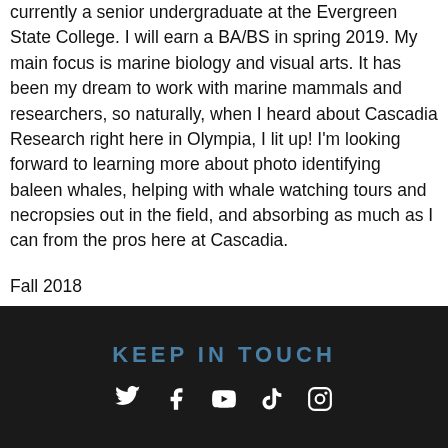currently a senior undergraduate at the Evergreen State College. I will earn a BA/BS in spring 2019. My main focus is marine biology and visual arts. It has been my dream to work with marine mammals and researchers, so naturally, when I heard about Cascadia Research right here in Olympia, I lit up! I'm looking forward to learning more about photo identifying baleen whales, helping with whale watching tours and necropsies out in the field, and absorbing as much as I can from the pros here at Cascadia.
Fall 2018
KEEP IN TOUCH